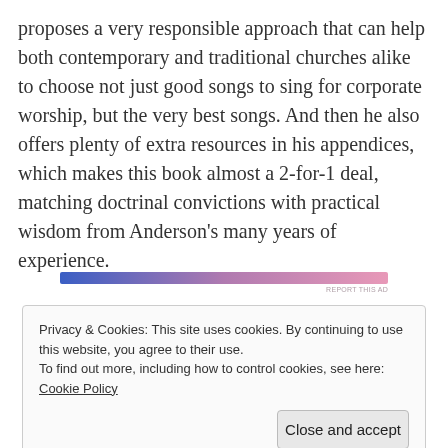proposes a very responsible approach that can help both contemporary and traditional churches alike to choose not just good songs to sing for corporate worship, but the very best songs. And then he also offers plenty of extra resources in his appendices, which makes this book almost a 2-for-1 deal, matching doctrinal convictions with practical wisdom from Anderson's many years of experience.
[Figure (other): A horizontal gradient bar transitioning from blue on the left to pink on the right, with a small 'REPORT THIS AD' label in the bottom right corner.]
Privacy & Cookies: This site uses cookies. By continuing to use this website, you agree to their use.
To find out more, including how to control cookies, see here: Cookie Policy

Close and accept